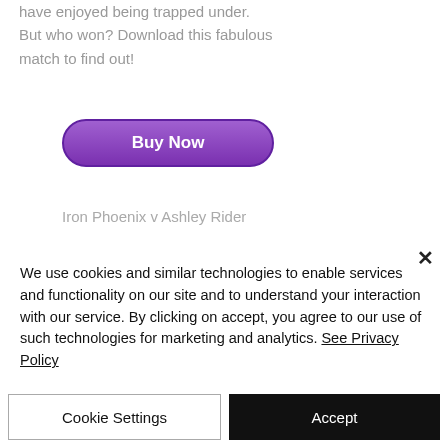have enjoyed being trapped under. But who won? Download this fabulous match to find out!
[Figure (other): Purple 'Buy Now' button with rounded corners and gradient background]
Iron Phoenix v Ashley Rider
We use cookies and similar technologies to enable services and functionality on our site and to understand your interaction with our service. By clicking on accept, you agree to our use of such technologies for marketing and analytics. See Privacy Policy
Cookie Settings
Accept